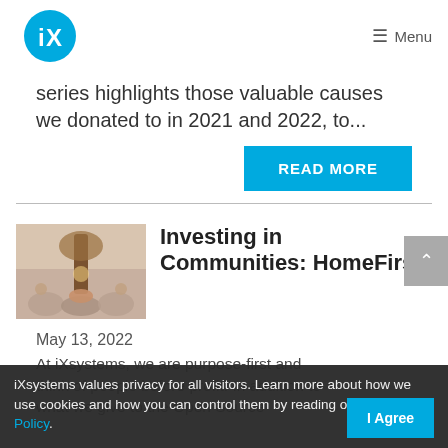iX logo | Menu
series highlights those valuable causes we donated to in 2021 and 2022, to...
READ MORE
[Figure (photo): Thumbnail image showing hands and community figures around a tree, representing community investment.]
Investing in Communities: HomeFirst
May 13, 2022
At iXsystems, we are purpose-first and think of people before profit. In addition to what we give to the Open Source
iXsystems values privacy for all visitors. Learn more about how we use cookies and how you can control them by reading our Privacy Policy.